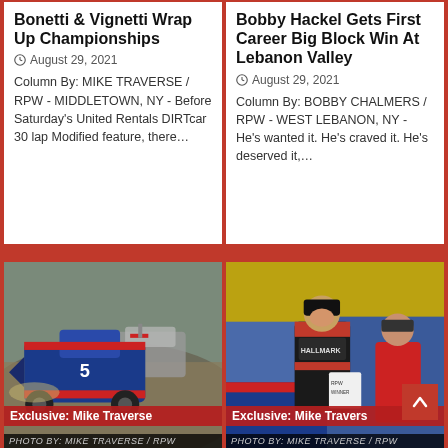Bonetti & Vignetti Wrap Up Championships
August 29, 2021
Column By: MIKE TRAVERSE / RPW - MIDDLETOWN, NY - Before Saturday's United Rentals DIRTcar 30 lap Modified feature, there...
Bobby Hackel Gets First Career Big Block Win At Lebanon Valley
August 29, 2021
Column By: BOBBY CHALMERS / RPW - WEST LEBANON, NY - He's wanted it. He's craved it. He's deserved it,...
[Figure (photo): Racing cars on dirt track, blue modified race car in foreground. Caption: Exclusive: Mike Traverse. Photo credit: PHOTO BY: MIKE TRAVERSE / RPW]
[Figure (photo): Racing driver in black Hallmark suit holding trophy/plaque, standing with another person in front of race car. Caption: Exclusive: Mike Traverse. Photo credit: PHOTO BY: MIKE TRAVERSE / RPW]